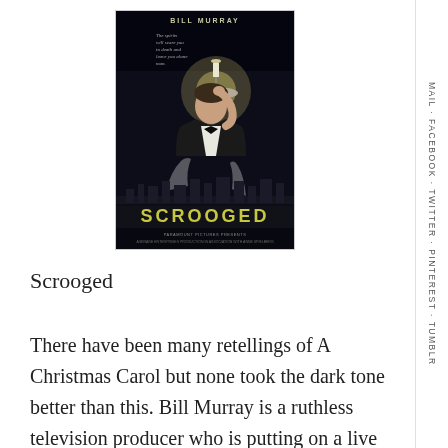[Figure (photo): Movie poster for Scrooged featuring Bill Murray in a tuxedo holding a candelabra, with the movie title SCROOGED at the bottom against a dark background]
Scrooged
There have been many retellings of A Christmas Carol but none took the dark tone better than this. Bill Murray is a ruthless television producer who is putting on a live production of A Christmas Carol and
MAIL · FACEBOOK · TWITTER · PINTEREST · TUMBLR